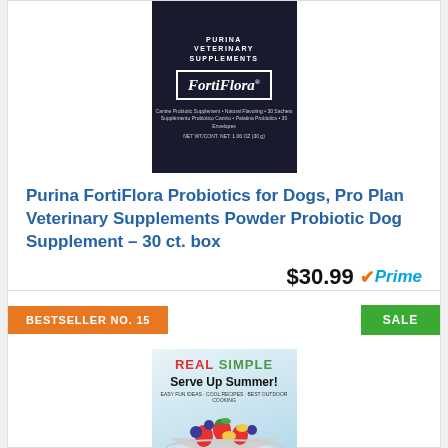[Figure (photo): Purina FortiFlora product box on dark background]
Purina FortiFlora Probiotics for Dogs, Pro Plan Veterinary Supplements Powder Probiotic Dog Supplement – 30 ct. box
$30.99 Prime
Buy on Amazon
BESTSELLER NO. 15
SALE
[Figure (photo): Real Simple magazine cover with Serve Up Summer headline and fruit bowl image]